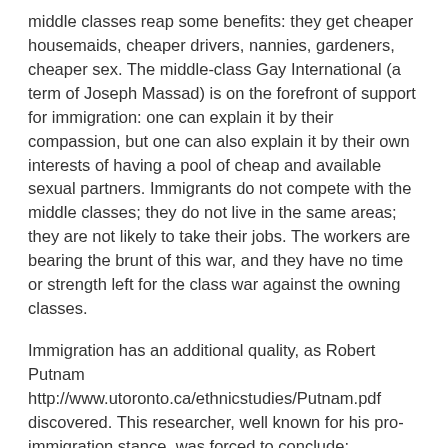middle classes reap some benefits: they get cheaper housemaids, cheaper drivers, nannies, gardeners, cheaper sex. The middle-class Gay International (a term of Joseph Massad) is on the forefront of support for immigration: one can explain it by their compassion, but one can also explain it by their own interests of having a pool of cheap and available sexual partners. Immigrants do not compete with the middle classes; they do not live in the same areas; they are not likely to take their jobs. The workers are bearing the brunt of this war, and they have no time or strength left for the class war against the owning classes.
Immigration has an additional quality, as Robert Putnam http://www.utoronto.ca/ethnicstudies/Putnam.pdf discovered. This researcher, well known for his pro-immigration stance, was forced to conclude:
As ethnic diversity is increasing, immigration and ethnic diversity tend to reduce social solidarity and social capital. In ethnically diverse neighbourhoods, residents of all races tend to 'hunker down'. Trust (even of one's own race) is lower; altruism and community cooperation rarer; friends